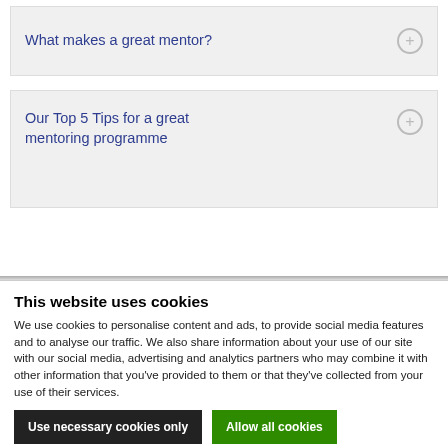What makes a great mentor?
Our Top 5 Tips for a great mentoring programme
This website uses cookies
We use cookies to personalise content and ads, to provide social media features and to analyse our traffic. We also share information about your use of our site with our social media, advertising and analytics partners who may combine it with other information that you've provided to them or that they've collected from your use of their services.
Use necessary cookies only
Allow all cookies
Show details